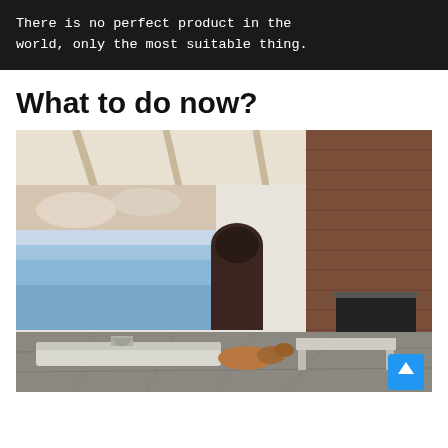There is no perfect product in the world, only the most suitable thing.
What to do now?
[Figure (photo): A large modern living room with high vaulted wooden-beam ceiling, a massive projected ocean/sky artwork covering the left wall, a white projector unit on the floor, a dog lying on the grey floor in the center, a concrete bench, an arched doorway, and a brick fireplace wall on the right.]